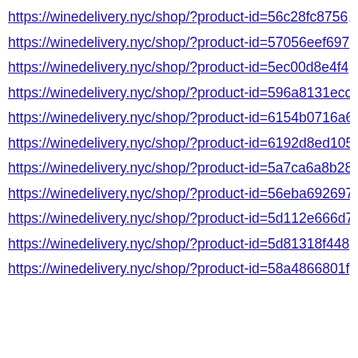https://winedelivery.nyc/shop/?product-id=56c28fc8756…
https://winedelivery.nyc/shop/?product-id=57056eef697…
https://winedelivery.nyc/shop/?product-id=5ec00d8e4f4…
https://winedelivery.nyc/shop/?product-id=596a8131ecc…
https://winedelivery.nyc/shop/?product-id=6154b0716a6…
https://winedelivery.nyc/shop/?product-id=6192d8ed105…
https://winedelivery.nyc/shop/?product-id=5a7ca6a8b28…
https://winedelivery.nyc/shop/?product-id=56eba692697…
https://winedelivery.nyc/shop/?product-id=5d112e666d7…
https://winedelivery.nyc/shop/?product-id=5d81318f448…
https://winedelivery.nyc/shop/?product-id=58a4866801f…